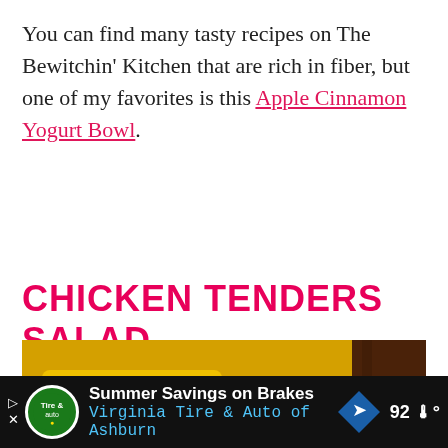You can find many tasty recipes on The Bewitchin' Kitchen that are rich in fiber, but one of my favorites is this Apple Cinnamon Yogurt Bowl.
CHICKEN TENDERS SALAD
[Figure (photo): Close-up photo of a glass measuring cup pouring yellow liquid (butter or oil) against a dark wooden background]
Summer Savings on Brakes Virginia Tire & Auto of Ashburn